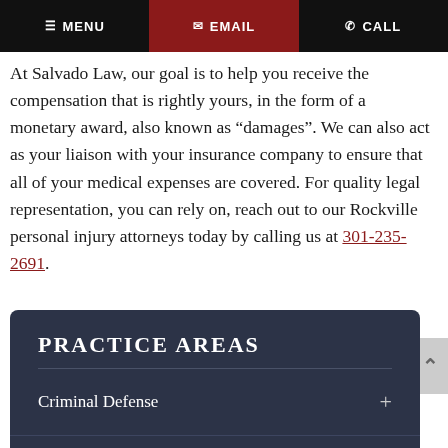MENU  EMAIL  CALL
At Salvado Law, our goal is to help you receive the compensation that is rightly yours, in the form of a monetary award, also known as “damages”. We can also act as your liaison with your insurance company to ensure that all of your medical expenses are covered. For quality legal representation, you can rely on, reach out to our Rockville personal injury attorneys today by calling us at 301-235-2691.
PRACTICE AREAS
Criminal Defense
Divorce And Family Law